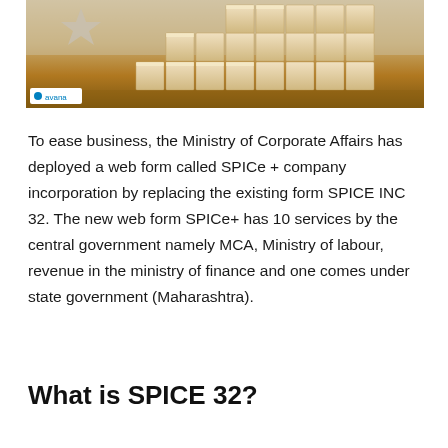[Figure (photo): Photo of wooden building blocks stacked in ascending staircase pattern on a wooden table, with a star-shaped object on the left side. Avana logo watermark in bottom-left corner.]
To ease business, the Ministry of Corporate Affairs has deployed a web form called SPICe + company incorporation by replacing the existing form SPICE INC 32. The new web form SPICe+ has 10 services by the central government namely MCA, Ministry of labour, revenue in the ministry of finance and one comes under state government (Maharashtra).
What is SPICE 32?